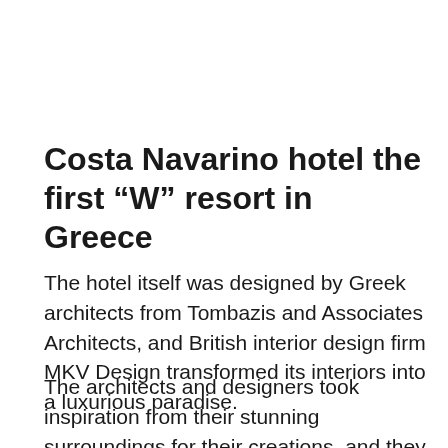Costa Navarino hotel the first “W” resort in Greece
The hotel itself was designed by Greek architects from Tombazis and Associates Architects, and British interior design firm MKV Design transformed its interiors into a luxurious paradise.
The architects and designers took inspiration from their stunning surroundings for their creations, and they incorporated elements such as wood, reeds